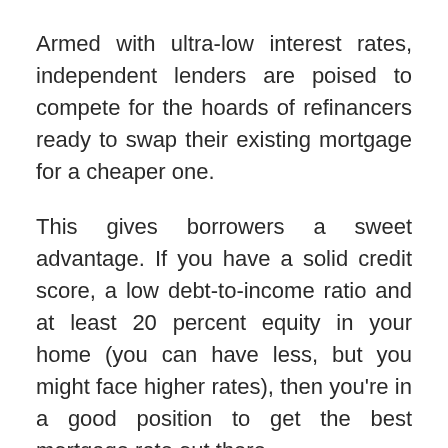Armed with ultra-low interest rates, independent lenders are poised to compete for the hoards of refinancers ready to swap their existing mortgage for a cheaper one.
This gives borrowers a sweet advantage. If you have a solid credit score, a low debt-to-income ratio and at least 20 percent equity in your home (you can have less, but you might face higher rates), then you’re in a good position to get the best mortgage rate out there.
That means you shouldn’t settle for the first lender that quotes you a rate. Unless that rate is in the 2s with very low closing costs,